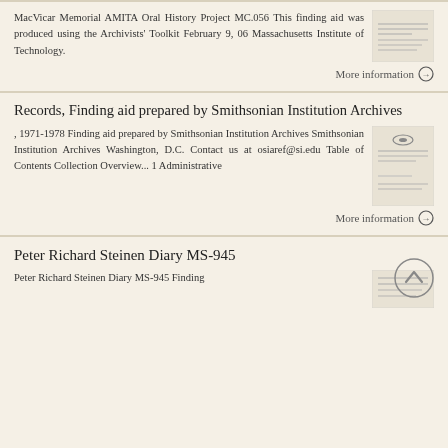MacVicar Memorial AMITA Oral History Project MC.056 This finding aid was produced using the Archivists' Toolkit February 9, 06 Massachusetts Institute of Technology.
[Figure (screenshot): Thumbnail of document page for MacVicar Memorial AMITA Oral History Project]
More information →
Records, Finding aid prepared by Smithsonian Institution Archives
, 1971-1978 Finding aid prepared by Smithsonian Institution Archives Smithsonian Institution Archives Washington, D.C. Contact us at osiaref@si.edu Table of Contents Collection Overview... 1 Administrative
[Figure (screenshot): Thumbnail of document page for Smithsonian Institution Archives finding aid]
More information →
Peter Richard Steinen Diary MS-945
Peter Richard Steinen Diary MS-945 Finding
[Figure (screenshot): Thumbnail of document for Peter Richard Steinen Diary]